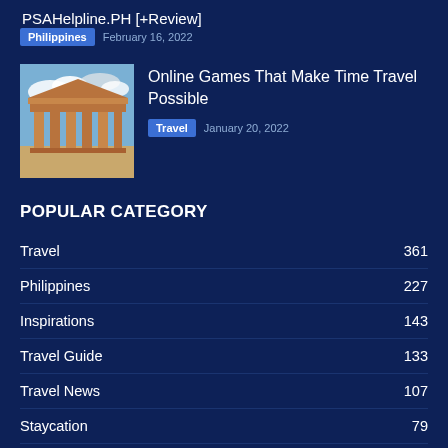PSAHelpline.PH [+Review]
Philippines  February 16, 2022
[Figure (photo): Thumbnail image of ancient ruins/Greek temple with blue sky]
Online Games That Make Time Travel Possible
Travel  January 20, 2022
POPULAR CATEGORY
Travel  361
Philippines  227
Inspirations  143
Travel Guide  133
Travel News  107
Staycation  79
Travel Tips  73